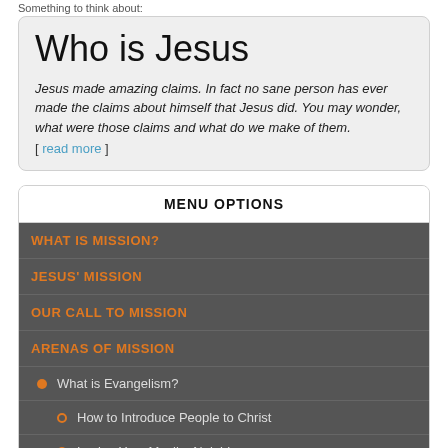Something to think about:
Who is Jesus
Jesus made amazing claims. In fact no sane person has ever made the claims about himself that Jesus did. You may wonder, what were those claims and what do we make of them.
[ read more ]
MENU OPTIONS
WHAT IS MISSION?
JESUS' MISSION
OUR CALL TO MISSION
ARENAS OF MISSION
What is Evangelism?
How to Introduce People to Christ
Loving Your Muslim Neighbour
Making Disciples
DBS - 3 Columns
DBS - Seven Questions